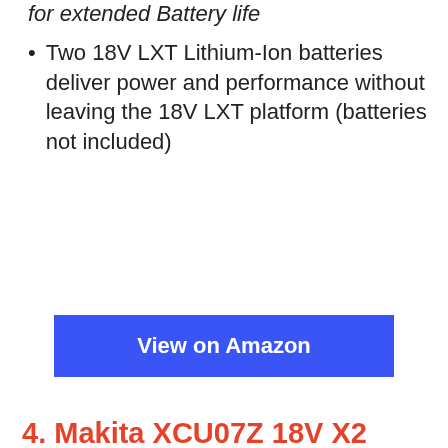for extended Battery life
Two 18V LXT Lithium-Ion batteries deliver power and performance without leaving the 18V LXT platform (batteries not included)
View on Amazon
4. Makita XCU07Z 18V X2 (36V) LXT Lithium-Ion Brushless Cordless 14″ Chain Saw, Tool Only, Teal